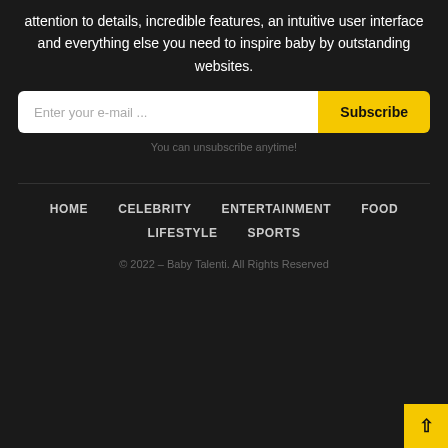attention to details, incredible features, an intuitive user interface and everything else you need to inspire baby by outstanding websites.
Enter your e-mail ...
Subscribe
You can unsubscribe anytime!
HOME
CELEBRITY
ENTERTAINMENT
FOOD
LIFESTYLE
SPORTS
© 2022 – Baby Talenti. All Rights Reserved